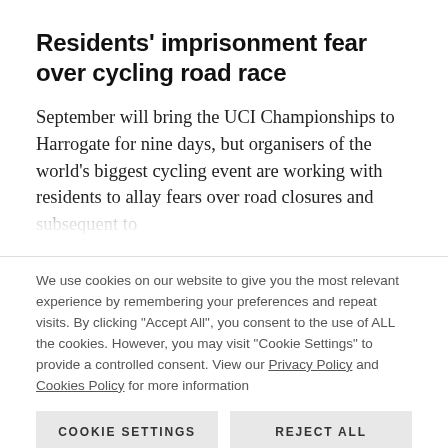Residents’ imprisonment fear over cycling road race
September will bring the UCI Championships to Harrogate for nine days, but organisers of the world’s biggest cycling event are working with residents to allay fears over road closures and subsequent to…
We use cookies on our website to give you the most relevant experience by remembering your preferences and repeat visits. By clicking “Accept All”, you consent to the use of ALL the cookies. However, you may visit “Cookie Settings” to provide a controlled consent. View our Privacy Policy and Cookies Policy for more information
COOKIE SETTINGS
REJECT ALL
ACCEPT ALL